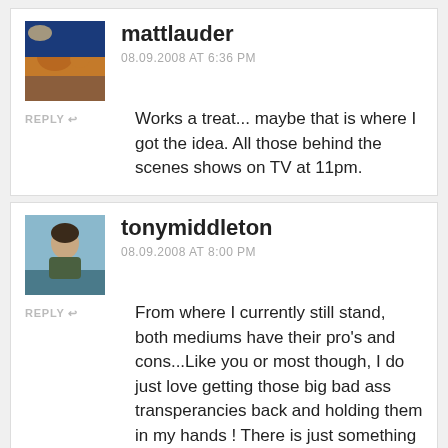mattlauder
08.09.2008 AT 6:36 PM
Works a treat... maybe that is where I got the idea. All those behind the scenes shows on TV at 11pm.
tonymiddleton
08.09.2008 AT 8:00 PM
From where I currently still stand, both mediums have their pro's and cons...Like you or most though, I do just love getting those big bad ass transperancies back and holding them in my hands ! There is just something special about that.
I can concur how much attention the camera